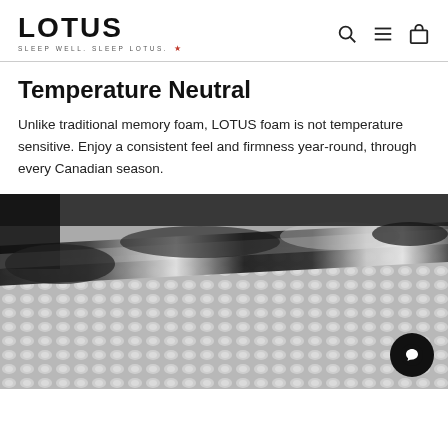LOTUS — SLEEP WELL. SLEEP LOTUS.
Temperature Neutral
Unlike traditional memory foam, LOTUS foam is not temperature sensitive. Enjoy a consistent feel and firmness year-round, through every Canadian season.
[Figure (photo): Close-up photo of a mattress surface with a textured grey and white pattern, with a rolled pillow or bolster in black and white at the top edge.]